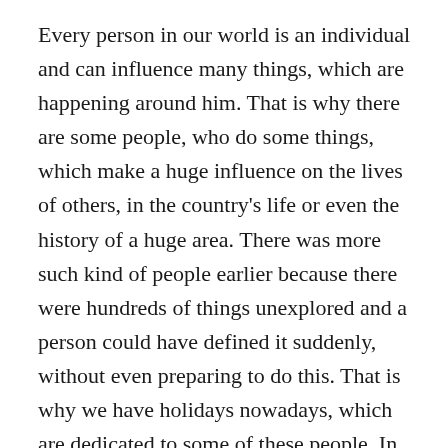Every person in our world is an individual and can influence many things, which are happening around him. That is why there are some people, who do some things, which make a huge influence on the lives of others, in the country's life or even the history of a huge area. There was more such kind of people earlier because there were hundreds of things unexplored and a person could have defined it suddenly, without even preparing to do this. That is why we have holidays nowadays, which are dedicated to some of these people. In this article, we would like to speak about when is Leif Erikson Day in 2019 and what does it mean.